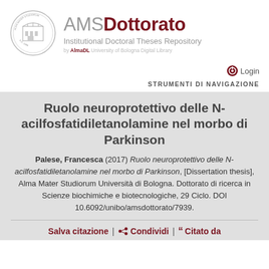[Figure (logo): University of Bologna circular seal/logo with Latin text and building illustration, in gray tones]
AMSDottorato Institutional Doctoral Theses Repository by AlmaDL University of Bologna Digital Library
Login
STRUMENTI DI NAVIGAZIONE
Ruolo neuroprotettivo delle N-acilfosfatidiletanolamine nel morbo di Parkinson
Palese, Francesca (2017) Ruolo neuroprotettivo delle N-acilfosfatidiletanolamine nel morbo di Parkinson, [Dissertation thesis], Alma Mater Studiorum Università di Bologna. Dottorato di ricerca in Scienze biochimiche e biotecnologiche, 29 Ciclo. DOI 10.6092/unibo/amsdottorato/7939.
Salva citazione | Condividi | Citato da